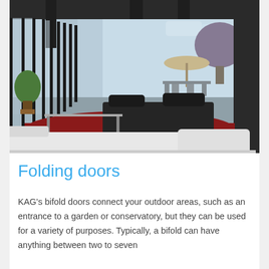[Figure (photo): Interior room with open bifold/folding glass doors revealing a garden patio area. A white sectional sofa is in the foreground, a dark leather sofa and coffee table on a red rug in the middle, and a patio with a beige umbrella and dining chairs visible outside through the open folding doors.]
Folding doors
KAG's bifold doors connect your outdoor areas, such as an entrance to a garden or conservatory, but they can be used for a variety of purposes. Typically, a bifold can have anything between two to seven